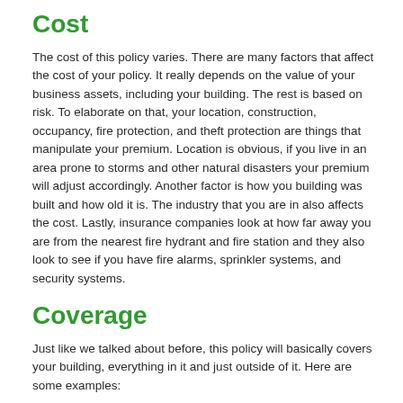Cost
The cost of this policy varies. There are many factors that affect the cost of your policy. It really depends on the value of your business assets, including your building. The rest is based on risk. To elaborate on that, your location, construction, occupancy, fire protection, and theft protection are things that manipulate your premium. Location is obvious, if you live in an area prone to storms and other natural disasters your premium will adjust accordingly. Another factor is how you building was built and how old it is. The industry that you are in also affects the cost. Lastly, insurance companies look at how far away you are from the nearest fire hydrant and fire station and they also look to see if you have fire alarms, sprinkler systems, and security systems.
Coverage
Just like we talked about before, this policy will basically covers your building, everything in it and just outside of it. Here are some examples:
Computers